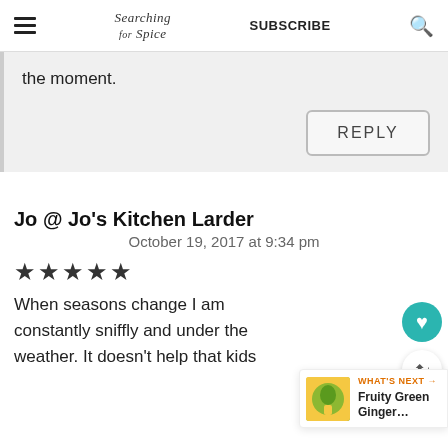Searching for Spice | SUBSCRIBE
the moment.
REPLY
Jo @ Jo's Kitchen Larder
October 19, 2017 at 9:34 pm
★★★★★
When seasons change I am constantly sniffly and under the weather. It doesn't help that kids